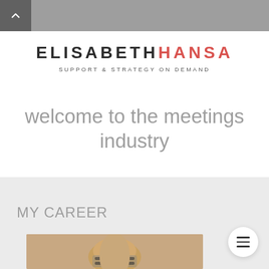navigation bar with back arrow
ELISABETH HANSA
SUPPORT & STRATEGY ON DEMAND
welcome to the meetings industry
MY CAREER
[Figure (photo): Photo of a person with glasses and blonde hair in a presentation setting]
[Figure (other): Hamburger menu button (three horizontal lines) in a white circle]